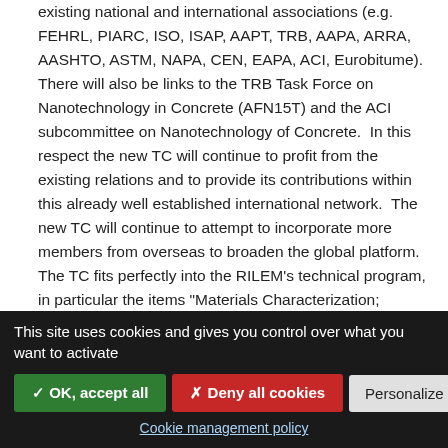existing national and international associations (e.g. FEHRL, PIARC, ISO, ISAP, AAPT, TRB, AAPA, ARRA, AASHTO, ASTM, NAPA, CEN, EAPA, ACI, Eurobitume). There will also be links to the TRB Task Force on Nanotechnology in Concrete (AFN15T) and the ACI subcommittee on Nanotechnology of Concrete.  In this respect the new TC will continue to profit from the existing relations and to provide its contributions within this already well established international network.  The new TC will continue to attempt to incorporate more members from overseas to broaden the global platform. The TC fits perfectly into the RILEM's technical program, in particular the items "Materials Characterization; Properties Evaluation and Processing; Performance and Deterioration
This site uses cookies and gives you control over what you want to activate
✓ OK, accept all
✗ Deny all cookies
Personalize
Cookie management policy